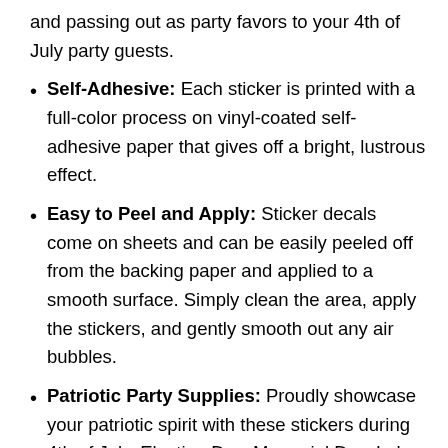and passing out as party favors to your 4th of July party guests.
Self-Adhesive: Each sticker is printed with a full-color process on vinyl-coated self-adhesive paper that gives off a bright, lustrous effect.
Easy to Peel and Apply: Sticker decals come on sheets and can be easily peeled off from the backing paper and applied to a smooth surface. Simply clean the area, apply the stickers, and gently smooth out any air bubbles.
Patriotic Party Supplies: Proudly showcase your patriotic spirit with these stickers during 4th of July, Election Day, Memorial Day, Labor day, Flag Day, Veterans Day, and other patriotic events and holidays.
Dimensions: Each sticker measures 4 Find...